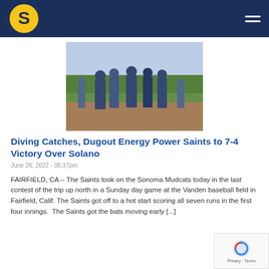Saints baseball site header with logo and navigation menu
[Figure (photo): Baseball players in navy uniforms gathered on a baseball field, appears to be a dugout or post-game meeting on a sunny day]
Diving Catches, Dugout Energy Power Saints to 7-4 Victory Over Solano
June 26, 2022 - 06:37pm
FAIRFIELD, CA – The Saints took on the Sonoma Mudcats today in the last contest of the trip up north in a Sunday day game at the Vanden baseball field in Fairfield, Calif. The Saints got off to a hot start scoring all seven runs in the first four innings. The Saints got the bats moving early [...]